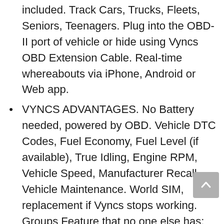included. Track Cars, Trucks, Fleets, Seniors, Teenagers. Plug into the OBD-II port of vehicle or hide using Vyncs OBD Extension Cable. Real-time whereabouts via iPhone, Android or Web app.
VYNCS ADVANTAGES. No Battery needed, powered by OBD. Vehicle DTC Codes, Fuel Economy, Fuel Level (if available), True Idling, Engine RPM, Vehicle Speed, Manufacturer Recall, Vehicle Maintenance. World SIM, replacement if Vyncs stops working. Groups Feature that no one else has: